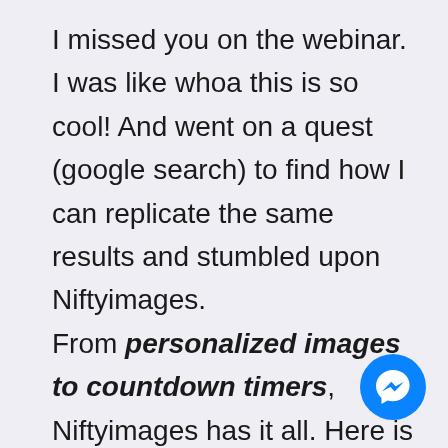I missed you on the webinar. I was like whoa this is so cool! And went on a quest (google search) to find how I can replicate the same results and stumbled upon Niftyimages.

From personalized images to countdown timers, Niftyimages has it all. Here is a list of things you can personalize using their services.
[Figure (illustration): Blue circular Messenger chat button icon in the bottom right corner]